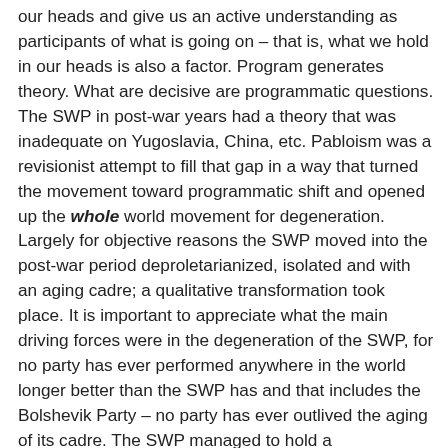our heads and give us an active understanding as participants of what is going on – that is, what we hold in our heads is also a factor. Program generates theory. What are decisive are programmatic questions. The SWP in post-war years had a theory that was inadequate on Yugoslavia, China, etc. Pabloism was a revisionist attempt to fill that gap in a way that turned the movement toward programmatic shift and opened up the whole world movement for degeneration. Largely for objective reasons the SWP moved into the post-war period deproletarianized, isolated and with an aging cadre; a qualitative transformation took place. It is important to appreciate what the main driving forces were in the degeneration of the SWP, for no party has ever performed anywhere in the world longer better than the SWP has and that includes the Bolshevik Party – no party has ever outlived the aging of its cadre. The SWP managed to hold a revolutionary line for some decades – the 50s was the worst period any movement faced anywhere. The entire world Trotskyist movement had developed an estimation of Stalinism which was developed on the basis of a single kind of experience – the pre-war role of the Stalinist parties in the face of working class mobilization in struggle. In the post-